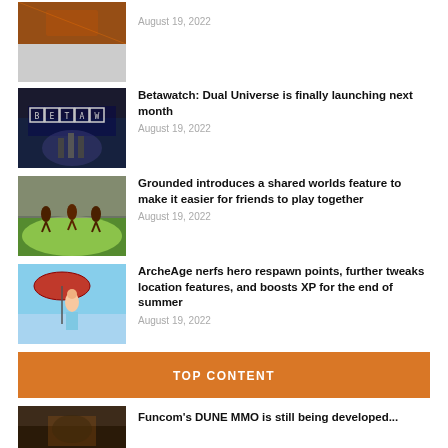[Figure (photo): Partial thumbnail image cropped at top, appears to be a game scene]
August 19, 2022
[Figure (photo): Betawatch logo thumbnail with city nightscape background]
Betawatch: Dual Universe is finally launching next month
August 19, 2022
[Figure (photo): Grounded game art showing small characters on grass]
Grounded introduces a shared worlds feature to make it easier for friends to play together
August 19, 2022
[Figure (photo): ArcheAge game art showing anime-style character under red umbrella]
ArcheAge nerfs hero respawn points, further tweaks location features, and boosts XP for the end of summer
August 19, 2022
TOP CONTENT
[Figure (photo): Funcom Dune MMO thumbnail showing a desert scene]
Funcom's DUNE MMO is still being developed...